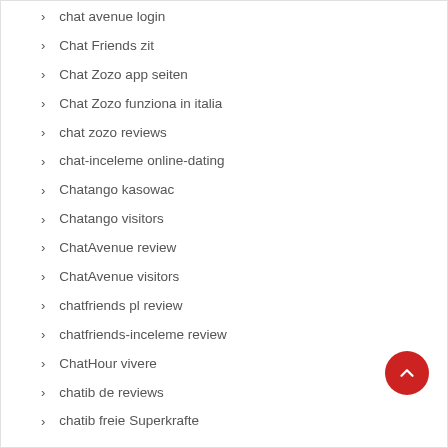chat avenue login
Chat Friends zit
Chat Zozo app seiten
Chat Zozo funziona in italia
chat zozo reviews
chat-inceleme online-dating
Chatango kasowac
Chatango visitors
ChatAvenue review
ChatAvenue visitors
chatfriends pl review
chatfriends-inceleme review
ChatHour vivere
chatib de reviews
chatib freie Superkrafte